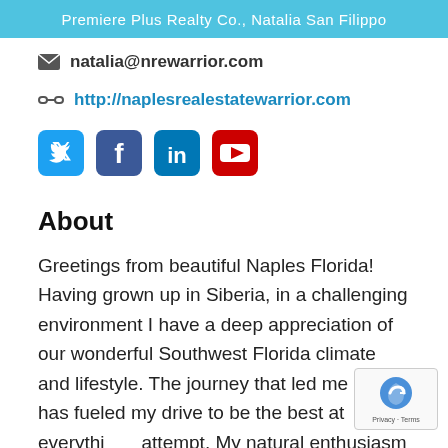Premiere Plus Realty Co., Natalia San Filippo
natalia@nrewarrior.com
http://naplesrealestatewarrior.com
[Figure (infographic): Social media icons: Twitter (blue bird), Facebook (blue f), LinkedIn (blue in), YouTube (red play button)]
About
Greetings from beautiful Naples Florida! Having grown up in Siberia, in a challenging environment I have a deep appreciation of our wonderful Southwest Florida climate and lifestyle. The journey that led me here has fueled my drive to be the best at everything I attempt. My natural enthusiasm for my work is